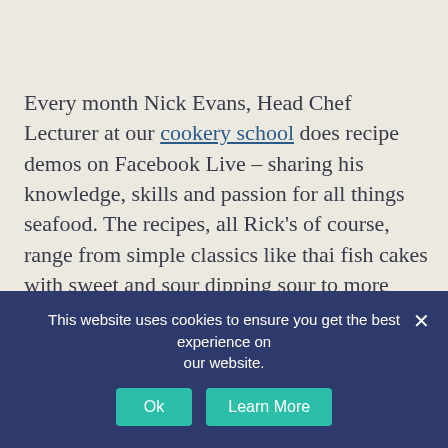Every month Nick Evans, Head Chef Lecturer at our cookery school does recipe demos on Facebook Live – sharing his knowledge, skills and passion for all things seafood. The recipes, all Rick's of course, range from simple classics like thai fish cakes with sweet and sour dipping sour to more challenging restaurant-style dishes like Cornish chilli crab. Scroll down to watch back and be sure to keep an eye out on our social media channels for new recipes to try at home. Also, if you'd love to discover more of Rick's recipes, pop on to learn more about the recipes here
This website uses cookies to ensure you get the best experience on our website.